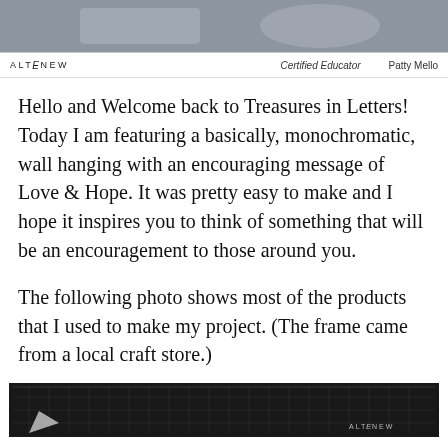[Figure (photo): Top banner image showing black and white stamped floral/leaf design on white background, with gray photo area above the Altenew header bar]
ALTENEW   Certified Educator   Patty Mello
Hello and Welcome back to Treasures in Letters! Today I am featuring a basically, monochromatic, wall hanging with an encouraging message of Love & Hope. It was pretty easy to make and I hope it inspires you to think of something that will be an encouragement to those around you.
The following photo shows most of the products that I used to make my project. (The frame came from a local craft store.)
[Figure (photo): Bottom image showing black cutting mat with white grid lines and Altenew logo in bottom right corner]